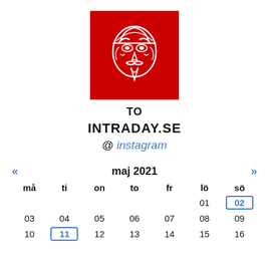[Figure (logo): Red square with white Guy Fawkes / Anonymous mask illustration]
TO
INTRADAY.SE
@ instagram
| « | maj 2021 |  |  |  |  | » |
| --- | --- | --- | --- | --- | --- | --- |
| må | ti | on | to | fr | lö | sö |
|  |  |  |  |  | 01 | 02 |
| 03 | 04 | 05 | 06 | 07 | 08 | 09 |
| 10 | 11 | 12 | 13 | 14 | 15 | 16 |